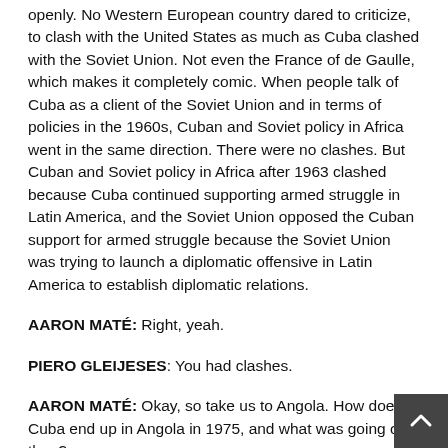openly.  No Western European country dared to criticize, to clash with the United States as much as Cuba clashed with the Soviet Union.  Not even the France of de Gaulle, which makes it completely comic.  When people talk of Cuba as a client of the Soviet Union and in terms of policies in the 1960s, Cuban and Soviet policy in Africa went in the same direction.  There were no clashes.  But Cuban and Soviet policy in Africa after 1963 clashed because Cuba continued supporting armed struggle in Latin America, and the Soviet Union opposed the Cuban support for armed struggle because the Soviet Union was trying to launch a diplomatic offensive in Latin America to establish diplomatic relations.
AARON MATÉ:  Right, yeah.
PIERO GLEIJESES:  You had clashes.
AARON MATÉ:  Okay, so take us to Angola.  How does Cuba end up in Angola in 1975, and what was going on then?